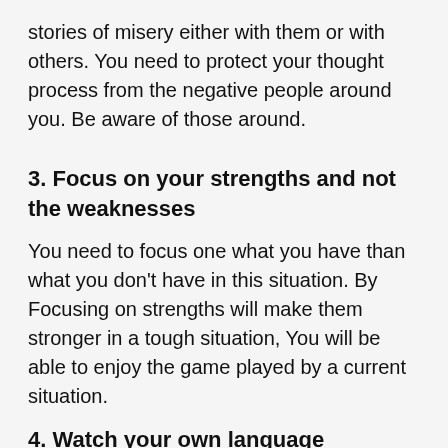stories of misery either with them or with others. You need to protect your thought process from the negative people around you. Be aware of those around.
3. Focus on your strengths and not the weaknesses
You need to focus one what you have than what you don't have in this situation. By Focusing on strengths will make them stronger in a tough situation, You will be able to enjoy the game played by a current situation.
4. Watch your own language
Listen to your words. Are you sharing your